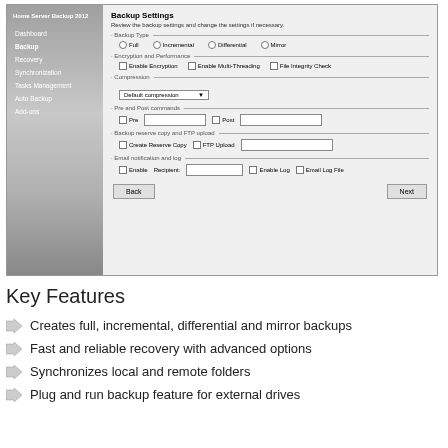[Figure (screenshot): Screenshot of Home Server Backup 2012 application showing Backup Settings panel with navigation sidebar and form fields for Backup Type, Encryption and Performance, Compression, Pre and Post commands, Backup reserve copy and FTP upload, and Email notification and log sections.]
Key Features
Creates full, incremental, differential and mirror backups
Fast and reliable recovery with advanced options
Synchronizes local and remote folders
Plug and run backup feature for external drives